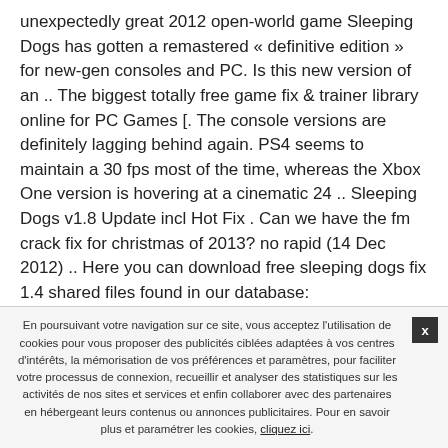unexpectedly great 2012 open-world game Sleeping Dogs has gotten a remastered « definitive edition » for new-gen consoles and PC. Is this new version of an .. The biggest totally free game fix & trainer library online for PC Games [. The console versions are definitely lagging behind again. PS4 seems to maintain a 30 fps most of the time, whereas the Xbox One version is hovering at a cinematic 24 .. Sleeping Dogs v1.8 Update incl Hot Fix . Can we have the fm crack fix for christmas of 2013? no rapid (14 Dec 2012) .. Here you can download free sleeping dogs fix 1.4 shared files found in our database: SLEEPING.DOGS.V 1.4.rar from mediafire.com host Sleeping dogs limited edition .. SLEEPING DOGS
En poursuivant votre navigation sur ce site, vous acceptez l'utilisation de cookies pour vous proposer des publicités ciblées adaptées à vos centres d'intérêts, la mémorisation de vos préférences et paramètres, pour faciliter votre processus de connexion, recueillir et analyser des statistiques sur les activités de nos sites et services et enfin collaborer avec des partenaires en hébergeant leurs contenus ou annonces publicitaires. Pour en savoir plus et paramétrer les cookies, cliquez ici.